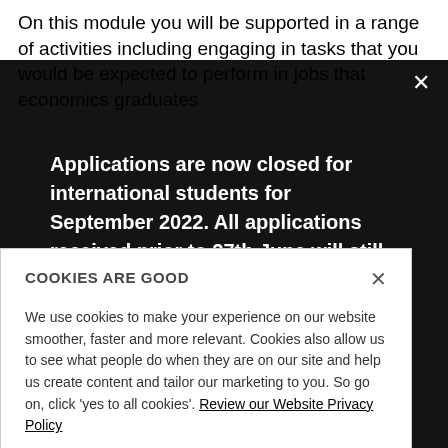On this module you will be supported in a range of activities including engaging in tasks that you would be expected to perform in jobs that economics graduates
[Figure (screenshot): Dark modal overlay with white bold text: 'Applications are now closed for international students for September 2022. All applications received prior to 27th June will still be considered.' with an X close button in the top right.]
COOKIES ARE GOOD
We use cookies to make your experience on our website smoother, faster and more relevant. Cookies also allow us to see what people do when they are on our site and help us create content and tailor our marketing to you. So go on, click 'yes to all cookies'. Review our Website Privacy Policy
Yes to all cookies